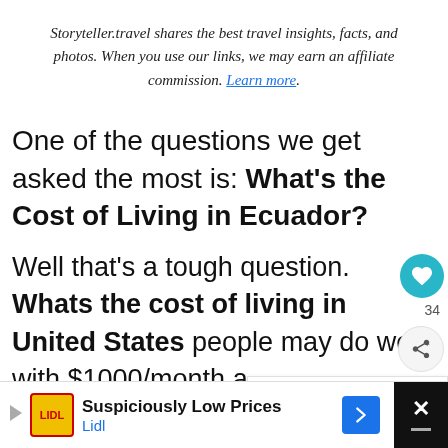Storyteller.travel shares the best travel insights, facts, and photos. When you use our links, we may earn an affiliate commission. Learn more.
One of the questions we get asked the most is: What's the Cost of Living in Ecuador?
Well that's a tough question. Whats the cost of living in United States people may do well with $1000/month a...
[Figure (screenshot): Heart/like button showing 34 likes, share button, What's Next widget showing 'Living in Ecuador: All...' with thumbnail]
[Figure (screenshot): Lidl advertisement bar: 'Suspiciously Low Prices' with Lidl logo, blue arrow icon, and X close button]